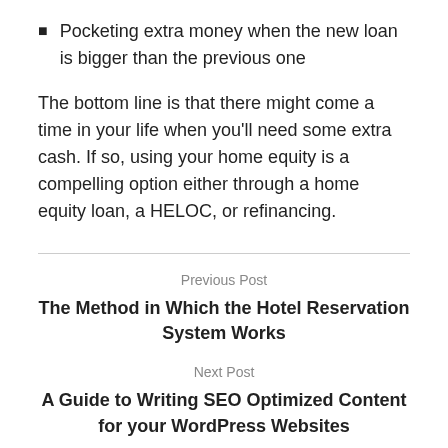Pocketing extra money when the new loan is bigger than the previous one
The bottom line is that there might come a time in your life when you'll need some extra cash. If so, using your home equity is a compelling option either through a home equity loan, a HELOC, or refinancing.
Previous Post
The Method in Which the Hotel Reservation System Works
Next Post
A Guide to Writing SEO Optimized Content for your WordPress Websites